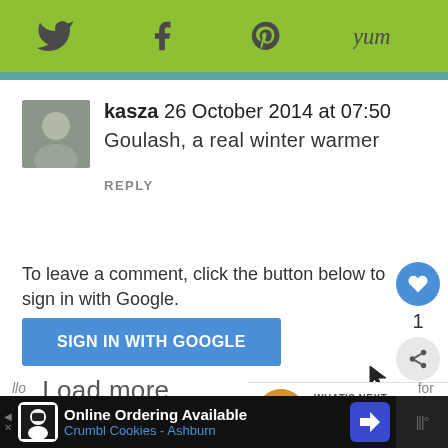[Figure (screenshot): Top green navigation bar with social media icons: Twitter bird, Facebook f, Pinterest p, and Yum logo]
kasza 26 October 2014 at 07:50
Goulash, a real winter warmer
REPLY
To leave a comment, click the button below to sign in with Google.
SIGN IN WITH GOOGLE
Load more...
WHAT'S NEXT → Cheesy Mashed...
Online Ordering Available
Crumbl Cookies - Ashburn